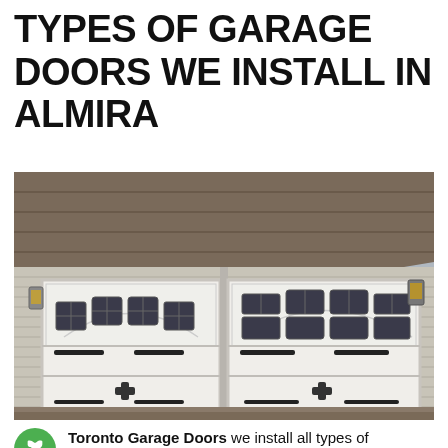TYPES OF GARAGE DOORS WE INSTALL IN ALMIRA
[Figure (photo): Photograph of a house exterior showing two white carriage-style garage doors with arched windows at the top and black decorative hardware, set against gray horizontal siding with a shingled roof and lantern-style light fixtures.]
Toronto Garage Doors we install all types of garage doors in Almira for your convenience: